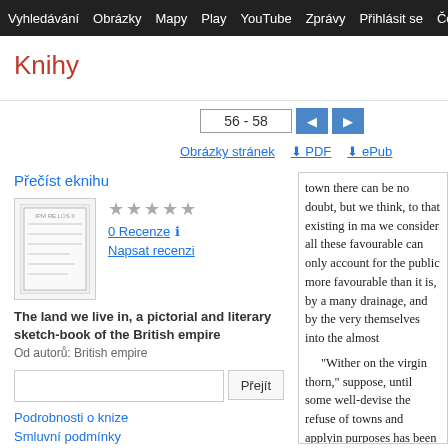Vyhledávání  Obrázky  Mapy  Play  YouTube  Zprávy  Přihlásit se  Česky  Da
Knihy
56 - 58
Obrázky stránek   ⬇ PDF   ⬇ ePub
Přečíst eknihu
[Figure (other): Book cover thumbnail for 'The land we live in']
★★★★★
0 Recenze ℹ
Napsat recenzi
The land we live in, a pictorial and literary sketch-book of the British empire
Od autorů: British empire
Podrobnosti o knize
Smluvní podmínky
town there can be no doubt, but we think, to that existing in ma we consider all these favourable can only account for the public more favourable than it is, by a many drainage, and by the very themselves into the almost

"Wither on the virgin thorn," suppose, until some well-devise the refuse of towns and applyin purposes has been arrived at. O very boats when emigrant ships returns, and them!